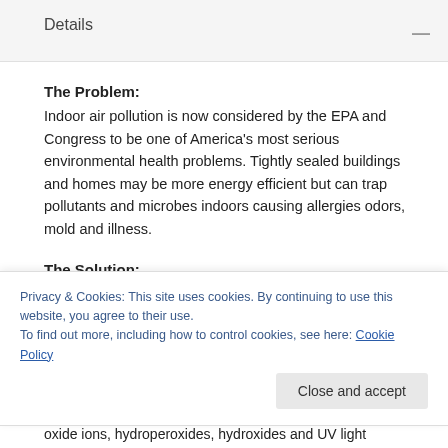Details —
The Problem:
Indoor air pollution is now considered by the EPA and Congress to be one of America's most serious environmental health problems. Tightly sealed buildings and homes may be more energy efficient but can trap pollutants and microbes indoors causing allergies odors, mold and illness.
The Solution:
The Guardian Air Plug In by RGF has proven to drastically reduce odors, smoke, mold, fungi, VOCs (chemical odors) and bacteria found in many rooms
Privacy & Cookies: This site uses cookies. By continuing to use this website, you agree to their use.
To find out more, including how to control cookies, see here: Cookie Policy
oxide ions, hydroperoxides, hydroxides and UV light